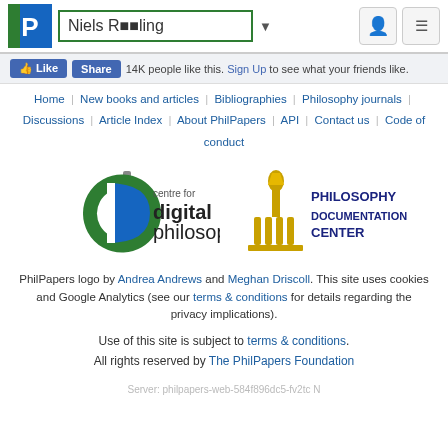Niels Röling — PhilPapers header with search and icons
14K people like this. Sign Up to see what your friends like.
Home | New books and articles | Bibliographies | Philosophy journals | Discussions | Article Index | About PhilPapers | API | Contact us | Code of conduct
[Figure (logo): Centre for Digital Philosophy logo and Philosophy Documentation Center logo side by side]
PhilPapers logo by Andrea Andrews and Meghan Driscoll. This site uses cookies and Google Analytics (see our terms & conditions for details regarding the privacy implications).
Use of this site is subject to terms & conditions. All rights reserved by The PhilPapers Foundation
Server: philpapers-web-584f896dc5-fv2tc N